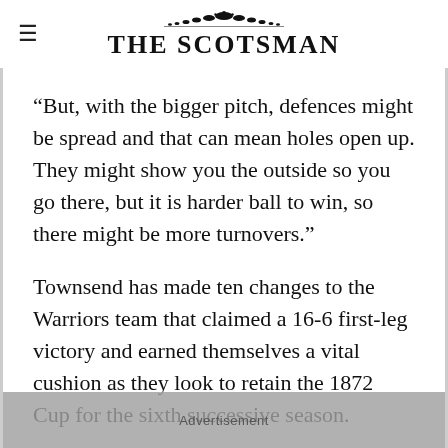THE SCOTSMAN
“But, with the bigger pitch, defences might be spread and that can mean holes open up. They might show you the outside so you go there, but it is harder ball to win, so there might be more turnovers.”
Townsend has made ten changes to the Warriors team that claimed a 16-6 first-leg victory and earned themselves a vital cushion as they look to retain the 1872 Cup for the sixth successive season.
Advertisement